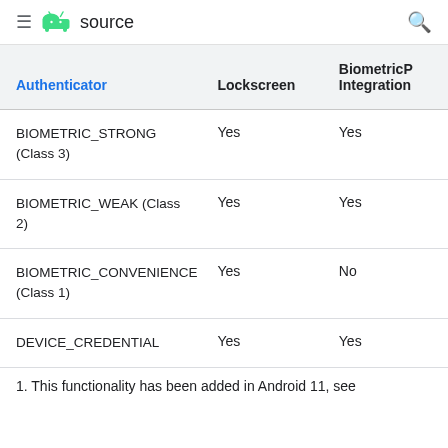≡ [Android logo] source [search icon]
| Authenticator | Lockscreen | BiometricPrompt Integration |
| --- | --- | --- |
| BIOMETRIC_STRONG (Class 3) | Yes | Yes |
| BIOMETRIC_WEAK (Class 2) | Yes | Yes |
| BIOMETRIC_CONVENIENCE (Class 1) | Yes | No |
| DEVICE_CREDENTIAL | Yes | Yes |
1. This functionality has been added in Android 11, see